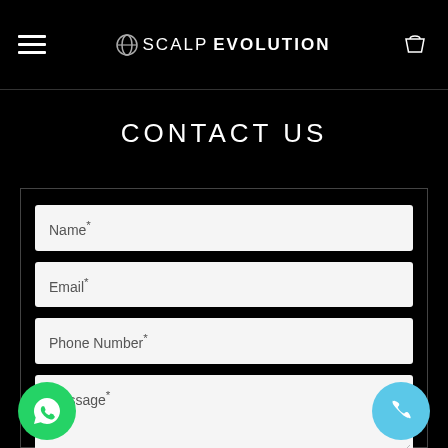SCALP EVOLUTION
CONTACT US
[Figure (screenshot): Contact form with fields: Name*, Email*, Phone Number*, Message*, and how did you find us?]
Name*
Email*
Phone Number*
Message*
w did you find us?